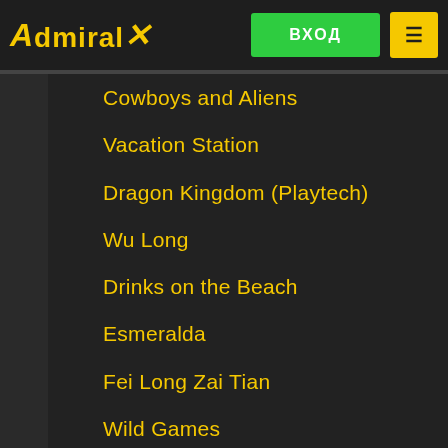AdmiralX — ВХОД — Menu
Cowboys and Aliens
Vacation Station
Dragon Kingdom (Playtech)
Wu Long
Drinks on the Beach
Esmeralda
Fei Long Zai Tian
Wild Games
Fortunate 5
Desert Treasure II